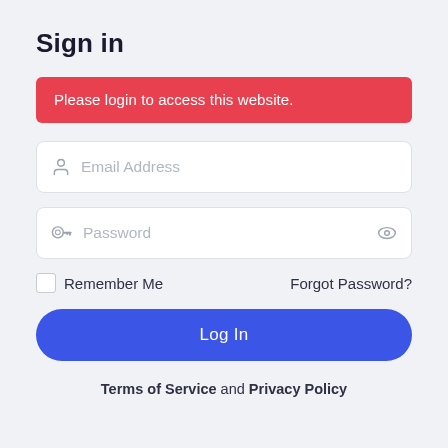Sign in
Please login to access this website.
Email Address
Password
Remember Me
Forgot Password?
Log In
Terms of Service and Privacy Policy